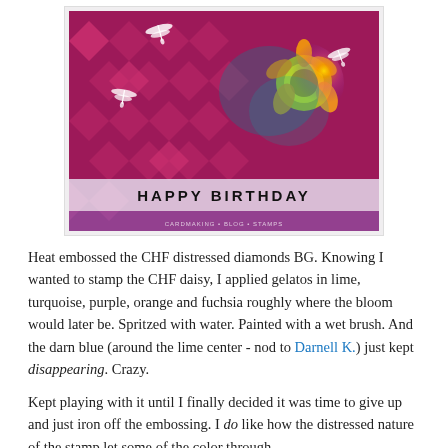[Figure (photo): A handmade birthday card with colorful distressed diamond background pattern in reds and purples, dragonfly stamps, a bright daisy flower with yellow center on the right side, and 'HAPPY BIRTHDAY' text stamped at the bottom on a white/translucent strip.]
Heat embossed the CHF distressed diamonds BG.  Knowing I wanted to stamp the CHF daisy, I applied gelatos in lime, turquoise, purple, orange and fuchsia roughly where the bloom would later be.  Spritzed with water.  Painted with a wet brush.  And the darn blue (around the lime center - nod to Darnell K.) just kept disappearing.  Crazy.
Kept playing with it until I finally decided it was time to give up and just iron off the embossing.  I do like how the distressed nature of the stamp let some of the color through